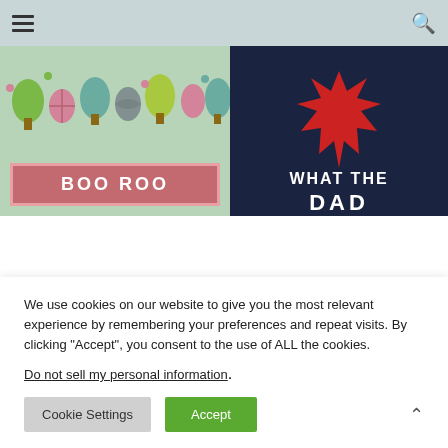Navigation bar with hamburger menu and search icon
[Figure (illustration): Two banner images side by side: left shows an Easter-themed image with colorful trees and eggs pattern, with a pink/mauve rectangle containing white bold text 'BOO ROO' with a decorative border; right shows a dark navy background with a red starburst shape and white bold text 'WHAT THE']
We use cookies on our website to give you the most relevant experience by remembering your preferences and repeat visits. By clicking “Accept”, you consent to the use of ALL the cookies.
Do not sell my personal information.
Cookie Settings  Accept